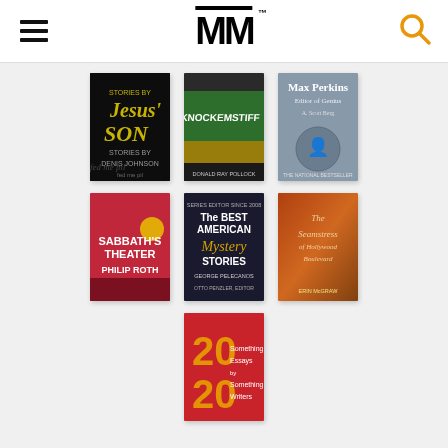[Figure (logo): MM logo with hamburger menu and search icon in header]
[Figure (photo): Grid of 7 book covers: Jesus' Son by Denis Johnson, Knockemstiff by Donald Ray Pollock, Max Perkins Editor of Genius by A. Scott Berg, Sabbath's Theater by Philip Roth, The Best American Mystery Stories edited by George Pelecanos, The Seamstress of Hollywood Boulevard, and 20 Something Essays by 20 Something Writers]
fed me pil